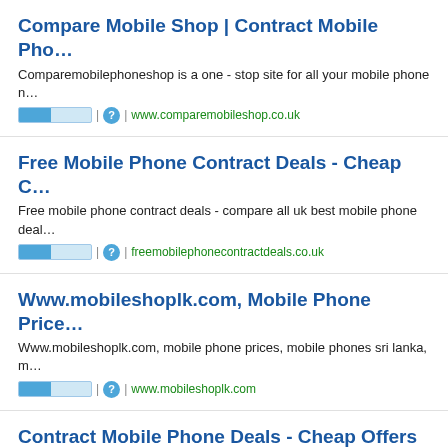Compare Mobile Shop | Contract Mobile Pho...
Comparemobilephoneshop is a one - stop site for all your mobile phone n…
www.comparemobileshop.co.uk
Free Mobile Phone Contract Deals - Cheap C...
Free mobile phone contract deals - compare all uk best mobile phone deal…
freemobilephonecontractdeals.co.uk
Www.mobileshoplk.com, Mobile Phone Price...
Www.mobileshoplk.com, mobile phone prices, mobile phones sri lanka, m…
www.mobileshoplk.com
Contract Mobile Phone Deals - Cheap Offers ...
Mobile deals 4 contract phones - online place to get information of cheap …
www.mobiledeals4contractphones.co.uk
Purple Mobile Phones Discover Cheaper Mob...
Purple mobile phones - mobile phone offers uk on o2 bt orange vigin voda…
www.purplemobilephones.co.uk
Cell Unlocked Phones.com Phone Unlocked...